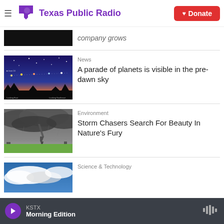Texas Public Radio | Donate
company grows
News
A parade of planets is visible in the pre-dawn sky
[Figure (photo): Star chart showing planets visible in pre-dawn sky with silhouetted treeline]
Environment
Storm Chasers Search For Beauty In Nature's Fury
[Figure (photo): Tornado touching down in a green field under stormy grey sky]
Science & Technology
[Figure (photo): Cloudy sky photo partially visible]
KSTX Morning Edition